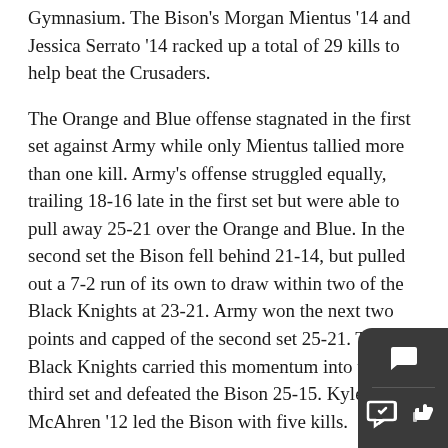Gymnasium. The Bison's Morgan Mientus '14 and Jessica Serrato '14 racked up a total of 29 kills to help beat the Crusaders.
The Orange and Blue offense stagnated in the first set against Army while only Mientus tallied more than one kill. Army's offense struggled equally, trailing 18-16 late in the first set but were able to pull away 25-21 over the Orange and Blue. In the second set the Bison fell behind 21-14, but pulled out a 7-2 run of its own to draw within two of the Black Knights at 23-21. Army won the next two points and capped of the second set 25-21. The Black Knights carried this momentum into the third set and defeated the Bison 25-15. Kyleigh McAhren '12 led the Bison with five kills.
“We have a lot to improve on and hopefully we can start winning consecutive games. Moving forward, we need to play more consistently and hopefully we can do so in our